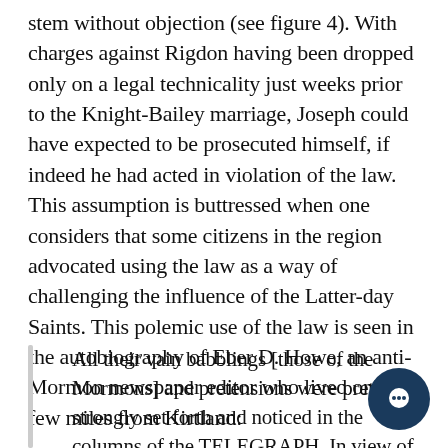stem without objection (see figure 4). With charges against Rigdon having been dropped only on a legal technicality just weeks prior to the Knight-Bailey marriage, Joseph could have expected to be prosecuted himself, if indeed he had acted in violation of the law. This assumption is buttressed when one considers that some citizens in the region advocated using the law as a way of challenging the influence of the Latter-day Saints. This polemic use of the law is seen in the autobiography of Eber D. Howe, an anti-Mormon newspaper editor who lived only a few miles from Kirtland:
All their vain babblings [those of the Mormons] and pretensions were pretty strongly set forth and noticed in the columns of the TELEGRAPH. In view of